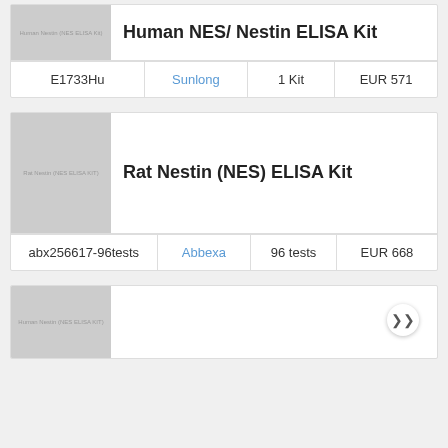| ID | Supplier | Size | Price |
| --- | --- | --- | --- |
| E1733Hu | Sunlong | 1 Kit | EUR 571 |
Human NES/ Nestin ELISA Kit
| ID | Supplier | Size | Price |
| --- | --- | --- | --- |
| abx256617-96tests | Abbexa | 96 tests | EUR 668 |
Rat Nestin (NES) ELISA Kit